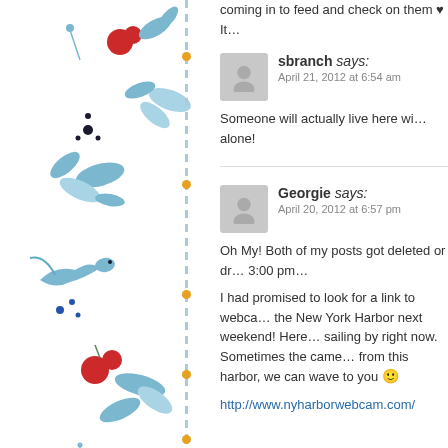[Figure (illustration): Decorative left sidebar with blue botanical illustrations including flowers, leaves, and berries, with a vertical dashed blue line and orange dots]
coming in to feed and check on them ♥ It...
sbranch says:
April 21, 2012 at 6:54 am

Someone will actually live here wi... alone!
Georgie says:
April 20, 2012 at 6:57 pm

Oh My! Both of my posts got deleted or dr... 3:00 pm…

I had promised to look for a link to webca... the New York Harbor next weekend! Here... sailing by right now. Sometimes the came... from this harbor, we can wave to you 🙂
http://www.nyharborwebcam.com/